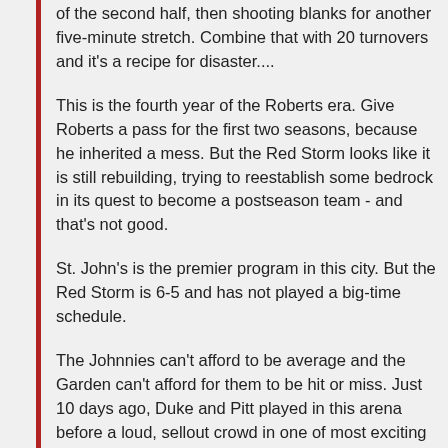of the second half, then shooting blanks for another five-minute stretch. Combine that with 20 turnovers and it's a recipe for disaster....
This is the fourth year of the Roberts era. Give Roberts a pass for the first two seasons, because he inherited a mess. But the Red Storm looks like it is still rebuilding, trying to reestablish some bedrock in its quest to become a postseason team - and that's not good.
St. John's is the premier program in this city. But the Red Storm is 6-5 and has not played a big-time schedule.
The Johnnies can't afford to be average and the Garden can't afford for them to be hit or miss. Just 10 days ago, Duke and Pitt played in this arena before a loud, sellout crowd in one of most exciting